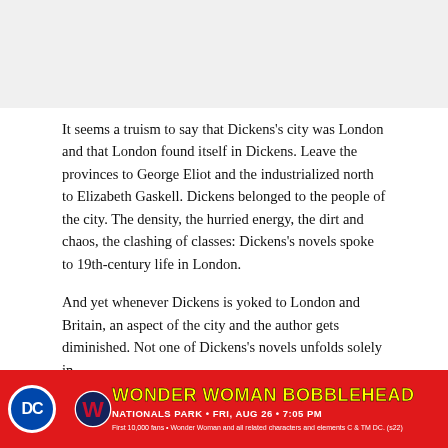It seems a truism to say that Dickens’s city was London and that London found itself in Dickens. Leave the provinces to George Eliot and the industrialized north to Elizabeth Gaskell. Dickens belonged to the people of the city. The density, the hurried energy, the dirt and chaos, the clashing of classes: Dickens’s novels spoke to 19th-century life in London.
And yet whenever Dickens is yoked to London and Britain, an aspect of the city and the author gets diminished. Not one of Dickens’s novels unfolds solely in
[Figure (infographic): Red advertisement banner for Wonder Woman Bobblehead at Nationals Park, Friday Aug 26, 7:05 PM. Features DC logo, Washington Nationals W logo, yellow bold text reading WONDER WOMAN BOBBLEHEAD, white text NATIONALS PARK • FRI, AUG 26 • 7:05 PM, and small disclaimer text.]